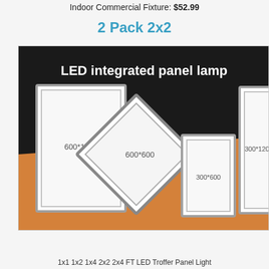Indoor Commercial Fixture: $52.99
2 Pack 2x2
[Figure (photo): LED integrated panel lamp product image showing multiple panel sizes including 600*1200, 600*600, 300*600, and 300*1200 on a black and orange background]
1x1 1x2 1x4 2x2 2x4 FT LED Troffer Panel Light